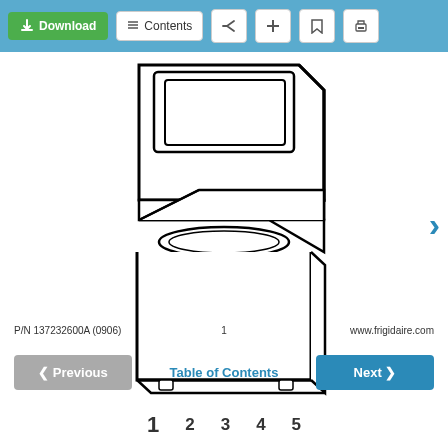[Figure (screenshot): Document viewer toolbar with Download button (green), Contents button, share, add, bookmark, and print icons on a blue background]
[Figure (engineering-diagram): Line drawing of a stacked laundry center appliance (dryer on top, washer on bottom with open lid) showing the front and side perspective view]
P/N 137232600A (0906)    1    www.frigidaire.com
[Figure (screenshot): Navigation bar with Previous button (gray), Table of Contents link (blue text), and Next button (blue)]
[Figure (screenshot): Page number row showing 1 (bold/large), 2, 3, 4, 5]